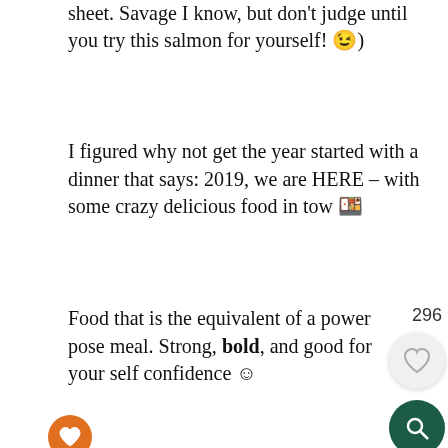sheet. Savage I know, but don't judge until you try this salmon for yourself! 😉)
I figured why not get the year started with a dinner that says: 2019, we are HERE – with some crazy delicious food in tow 🍽
Food that is the equivalent of a power pose meal. Strong, bold, and good for your self confidence ☺
[Figure (photo): Top-down view of a dark bowl with white seeds/beans on a textured blue-grey surface]
[Figure (photo): Advertisement banner with a woman in a yellow top and green jacket, Kohl's logo, text: More style. More savings. Swipe Up To Expand ^]